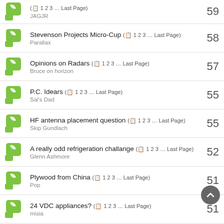JAGJR — 1 2 3 … Last Page — 59
Stevenson Projects Micro-Cup (1 2 3 … Last Page) Parallax — 58
Opinions on Radars (1 2 3 … Last Page) Bruce on horizon — 57
P.C. Idears (1 2 3 … Last Page) Sal's Dad — 55
HF antenna placement question (1 2 3 … Last Page) Skip Gundlach — 55
A really odd refrigeration challange (1 2 3 … Last Page) Glenn Ashmore — 52
Plywood from China (1 2 3 … Last Page) Pop — 51
24 VDC appliances? (1 2 3 … Last Page) misia — 51
ready to put some boat on my boat (1 2 3 … Last Page) Bill — 49